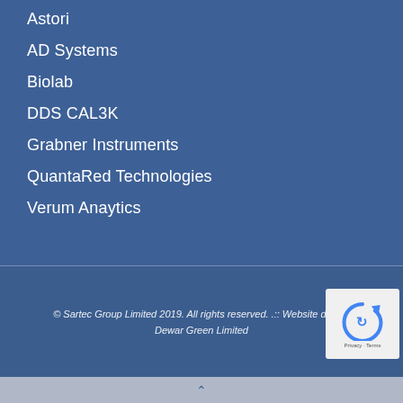Astori
AD Systems
Biolab
DDS CAL3K
Grabner Instruments
QuantaRed Technologies
Verum Anaytics
© Sartec Group Limited 2019. All rights reserved. .:: Website design Dewar Green Limited